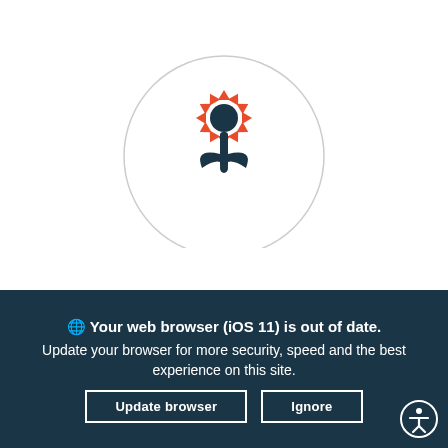[Figure (logo): A circular logo with a stylized red flower (sunflower-like, with red petals and a dark center) and a dark teal tulip stem/leaves shape below, inside a light grey circle outline.]
Your web browser (iOS 11) is out of date. Update your browser for more security, speed and the best experience on this site.
Update browser
Ignore